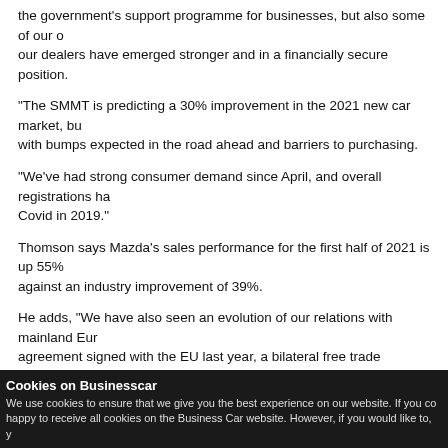the government's support programme for businesses, but also some of our dealers have emerged stronger and in a financially secure position.
"The SMMT is predicting a 30% improvement in the 2021 new car market, but with bumps expected in the road ahead and barriers to purchasing.
"We've had strong consumer demand since April, and overall registrations ha... Covid in 2019."
Thomson says Mazda's sales performance for the first half of 2021 is up 55% against an industry improvement of 39%.
He adds, "We have also seen an evolution of our relations with mainland Eu... agreement signed with the EU last year, a bilateral free trade agreement sign...
"Although it largely mirrored what we had through our membership of the EU... of 10%. All of our production comes from Japan, but from 2025 we will be im...
Mazda has also reviewed its environmental commitments and stepped them in the past four years, with a commitment to be carbon neutral by 2050 and i... sold by 2030.
Cookies on Businesscar
We use cookies to ensure that we give you the best experience on our website. If you co... happy to receive all cookies on the Business Car website. However, if you would like to, y...